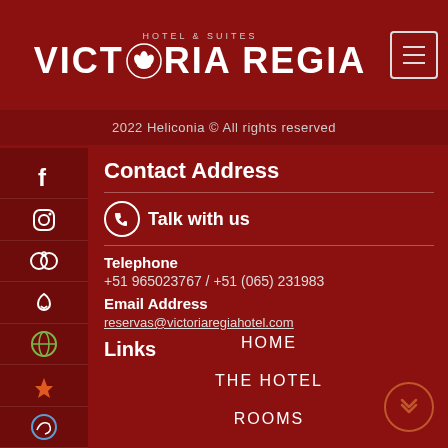HOTEL & SUITES VICTORIA REGIA
2022 Heliconia © All rights reserved
Contact Address
Talk with us
Telephone
+51 965023767 / +51 (065) 231983
Email Address
reservas@victoriaregiahotel.com
Links
HOME
THE HOTEL
ROOMS